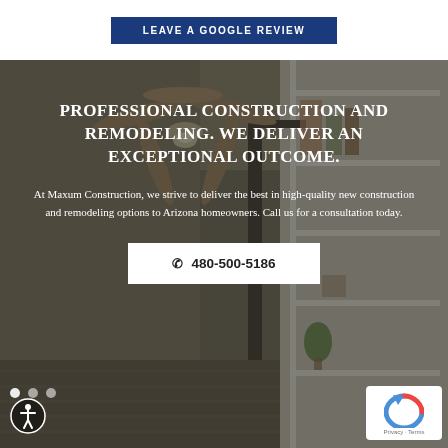[Figure (other): Button with dark navy blue background and white uppercase text reading LEAVE A GOOGLE REVIEW]
[Figure (photo): Background photo of a modern home interior showing a ceiling fan and built-in white shelving unit with dark door frame. The image has a dark semi-transparent overlay. Over the image is a large white serif heading reading PROFESSIONAL CONSTRUCTION AND REMODELING. WE DELIVER AN EXCEPTIONAL OUTCOME. followed by a paragraph of white text and a white call-to-action button with phone number 480-500-5186. Bottom-left has a circular accessibility icon. Bottom-right has a reCAPTCHA Privacy Terms badge.]
PROFESSIONAL CONSTRUCTION AND REMODELING. WE DELIVER AN EXCEPTIONAL OUTCOME.
At Maxum Construction, we strive to deliver the best in high-quality new construction and remodeling options to Arizona homeowners. Call us for a consultation today.
📞 480-500-5186